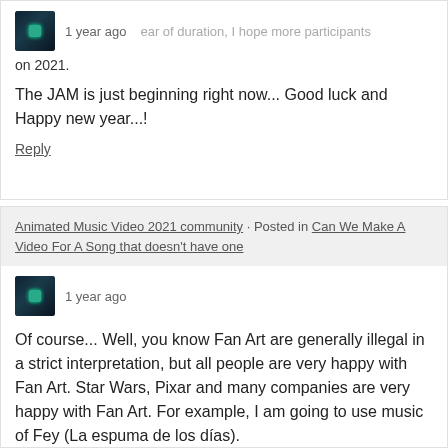...ear of duration, I hope more participants on 2021.
The JAM is just beginning right now... Good luck and Happy new year...!
Reply
Animated Music Video 2021 community · Posted in Can We Make A Video For A Song that doesn't have one
1 year ago
Of course... Well, you know Fan Art are generally illegal in a strict interpretation, but all people are very happy with Fan Art. Star Wars, Pixar and many companies are very happy with Fan Art. For example, I am going to use music of Fey (La espuma de los días).
Reply